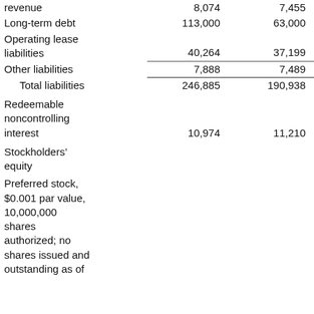|  | Col1 | Col2 |
| --- | --- | --- |
| revenue | 8,074 | 7,455 |
| Long-term debt | 113,000 | 63,000 |
| Operating lease liabilities | 40,264 | 37,199 |
| Other liabilities | 7,888 | 7,489 |
| Total liabilities | 246,885 | 190,938 |
| Redeemable noncontrolling interest | 10,974 | 11,210 |
| Stockholders' equity |  |  |
| Preferred stock, $0.001 par value, 10,000,000 shares authorized; no shares issued and outstanding as of |  |  |